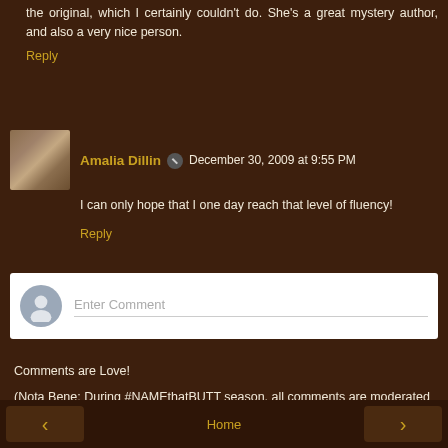the original, which I certainly couldn't do. She's a great mystery author, and also a very nice person.
Reply
Amalia Dillin  December 30, 2009 at 9:55 PM
I can only hope that I one day reach that level of fluency!
Reply
Enter Comment
Comments are Love!
(Nota Bene: During #NAMEthatBUTT season, all comments are moderated and your guesses are hidden until after the butt is revealed!)
Home